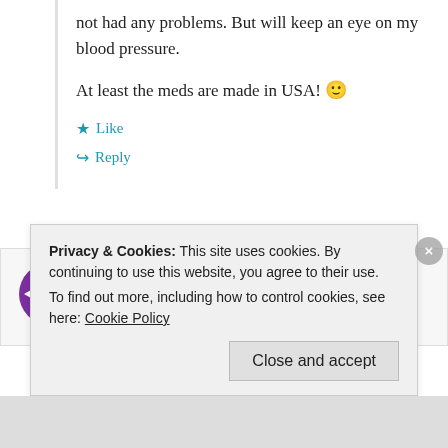not had any problems. But will keep an eye on my blood pressure.
At least the meds are made in USA! 🙂
★ Like
↪ Reply
Ken Baker
April 6, 2012 at 12:53 pm
Privacy & Cookies: This site uses cookies. By continuing to use this website, you agree to their use.
To find out more, including how to control cookies, see here: Cookie Policy